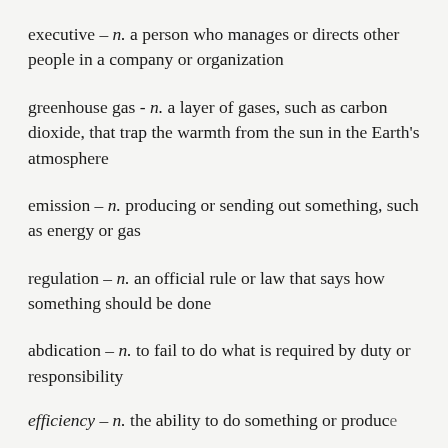executive – n. a person who manages or directs other people in a company or organization
greenhouse gas - n. a layer of gases, such as carbon dioxide, that trap the warmth from the sun in the Earth's atmosphere
emission – n. producing or sending out something, such as energy or gas
regulation – n. an official rule or law that says how something should be done
abdication – n. to fail to do what is required by duty or responsibility
efficiency – n. the ability to do something or produce…